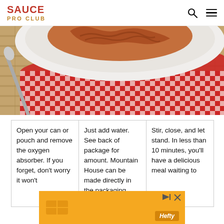SAUCE PRO CLUB
[Figure (photo): Close-up of a plate of saucy noodle dish on a red checkered cloth and wicker mat, with a spoon visible]
Open your can or pouch and remove the oxygen absorber. If you forget, don't worry it won't
Just add water. See back of package for amount. Mountain House can be made directly in the packaging saving you
Stir, close, and let stand. In less than 10 minutes, you'll have a delicious meal waiting to
[Figure (other): Hefty advertisement banner in orange/yellow color]